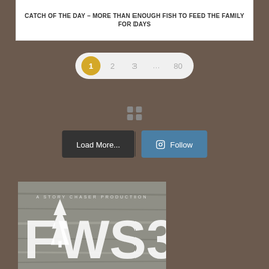CATCH OF THE DAY – MORE THAN ENOUGH FISH TO FEED THE FAMILY FOR DAYS
[Figure (other): Pagination navigation with page buttons: 1 (active, gold), 2, 3, ..., 80]
[Figure (other): Four small grey square icons in a 2x2 grid]
[Figure (other): Two buttons: 'Load More...' (dark grey) and a camera icon followed by 'Follow' (blue)]
[Figure (other): FWS3 logo graphic - A Story Chaser Production, white distressed text on grey wood-grain background with pine tree icon]